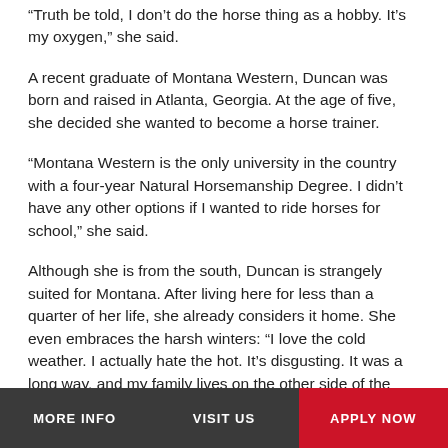“Truth be told, I don’t do the horse thing as a hobby. It’s my oxygen,” she said.
A recent graduate of Montana Western, Duncan was born and raised in Atlanta, Georgia. At the age of five, she decided she wanted to become a horse trainer.
“Montana Western is the only university in the country with a four-year Natural Horsemanship Degree. I didn’t have any other options if I wanted to ride horses for school,” she said.
Although she is from the south, Duncan is strangely suited for Montana. After living here for less than a quarter of her life, she already considers it home. She even embraces the harsh winters: “I love the cold weather. I actually hate the hot. It’s disgusting. It was a long way, and my family lives on the other side of the country, so I was definitely scared (when I first came here). It was so different than
MORE INFO | VISIT US | APPLY NOW